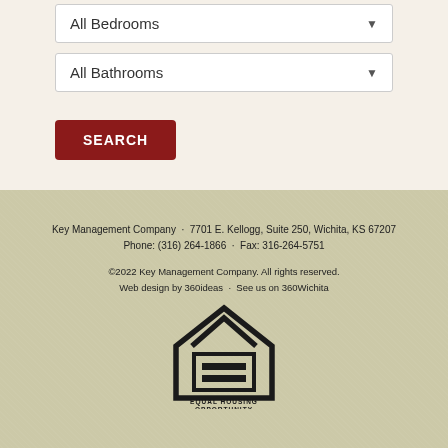All Bedrooms (dropdown)
All Bathrooms (dropdown)
SEARCH
Key Management Company · 7701 E. Kellogg, Suite 250, Wichita, KS 67207
Phone: (316) 264-1866 · Fax: 316-264-5751
©2022 Key Management Company. All rights reserved.
Web design by 360ideas · See us on 360Wichita
[Figure (logo): Equal Housing Opportunity logo — house outline with equal sign, text EQUAL HOUSING OPPORTUNITY below]